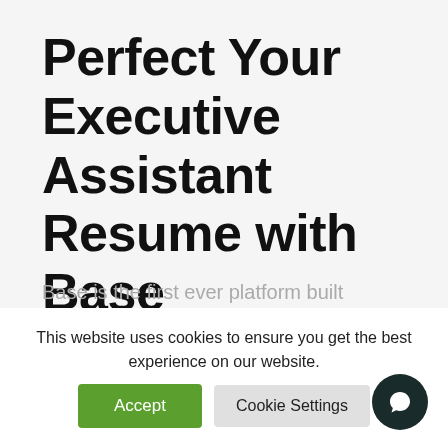Perfect Your Executive Assistant Resume with Base
Base is the first ever platform built specifically for executive assistants. In addition to software, Base is building a solid EA community where we can provide educational content, discuss best
This website uses cookies to ensure you get the best experience on our website.